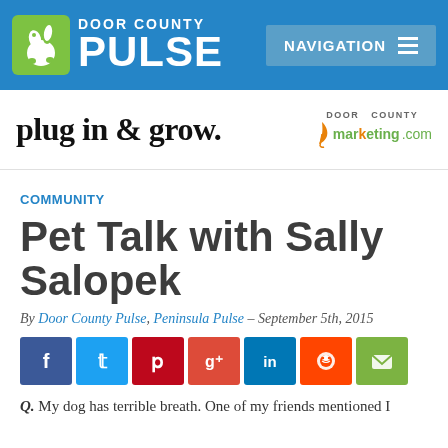DOOR COUNTY PULSE | NAVIGATION
[Figure (screenshot): Advertisement banner: plug in & grow. Door County marketing.com]
COMMUNITY
Pet Talk with Sally Salopek
By Door County Pulse, Peninsula Pulse – September 5th, 2015
[Figure (infographic): Social sharing buttons: Facebook, Twitter, Pinterest, Google+, LinkedIn, Reddit, Email]
Q. My dog has terrible breath. One of my friends mentioned I